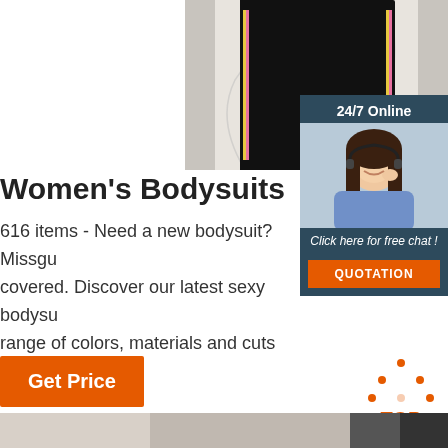[Figure (photo): Black bodysuit garment hanging against a marble background]
[Figure (photo): 24/7 Online chat widget with female customer service agent wearing headset, 'Click here for free chat!' text, and orange QUOTATION button]
Women's Bodysuits
616 items - Need a new bodysuit? Missgu covered. Discover our latest sexy bodysu range of colors, materials and cuts for any
[Figure (other): Orange 'Get Price' button]
[Figure (other): Orange dotted triangle 'TOP' back-to-top icon]
[Figure (photo): Bottom product image strip]